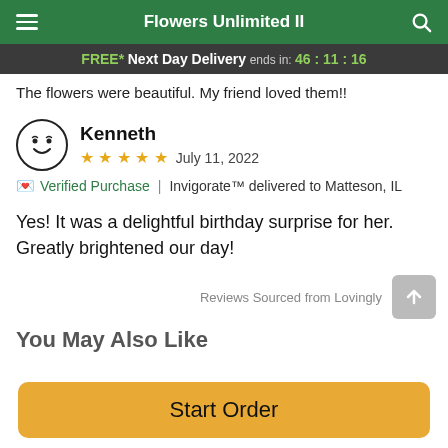Flowers Unlimited II
FREE* Next Day Delivery ends in: 46:11:16
The flowers were beautiful. My friend loved them!!
Kenneth · ★★★★★ · July 11, 2022
Verified Purchase | Invigorate™ delivered to Matteson, IL
Yes! It was a delightful birthday surprise for her. Greatly brightened our day!
Reviews Sourced from Lovingly
You May Also Like
Start Order